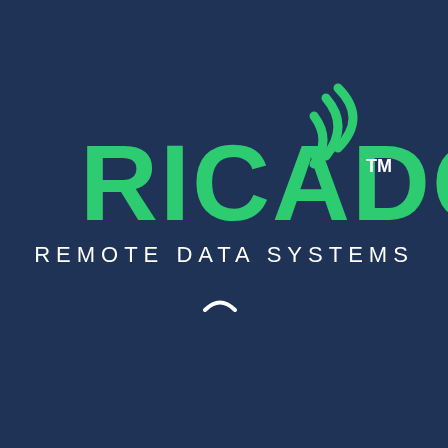[Figure (logo): RICADO Remote Data Systems logo. Large bold green text 'RICADO' with a TM superscript, accompanied by a green WiFi/signal arc icon in the upper right of the text. Below in white spaced letters: 'REMOTE DATA SYSTEMS'. A small white loading arc spinner appears below the main logo. Background is dark navy blue.]